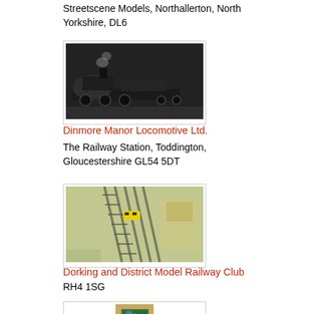Streetscene Models, Northallerton, North Yorkshire, DL6
[Figure (photo): A black steam locomotive model, detailed side view]
Dinmore Manor Locomotive Ltd.
The Railway Station, Toddington, Gloucestershire GL54 5DT
[Figure (photo): A model railway layout showing a yellow train on tracks, aerial view]
Dorking and District Model Railway Club
RH4 1SG
[Figure (photo): A green circuit board control panel for model railways]
Taunton Controls Ltd